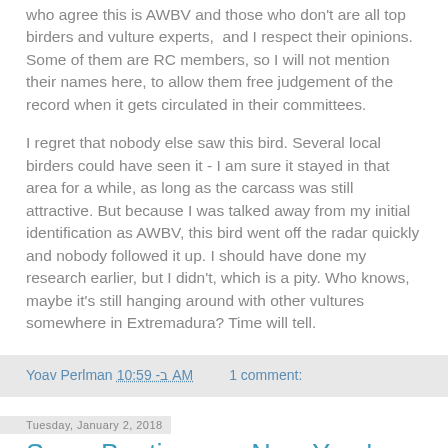who agree this is AWBV and those who don't are all top birders and vulture experts,  and I respect their opinions. Some of them are RC members, so I will not mention their names here, to allow them free judgement of the record when it gets circulated in their committees.
I regret that nobody else saw this bird. Several local birders could have seen it - I am sure it stayed in that area for a while, as long as the carcass was still attractive. But because I was talked away from my initial identification as AWBV, this bird went off the radar quickly and nobody followed it up. I should have done my research earlier, but I didn't, which is a pity. Who knows, maybe it's still hanging around with other vultures somewhere in Extremadura? Time will tell.
Yoav Perlman 10:59 -ב AM    1 comment:
Tuesday, January 2, 2018
Snow Buntings on New Year's Day